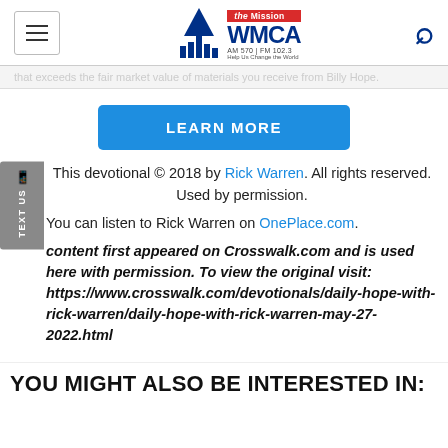WMCA The Mission AM 570 | FM 102.3
that exceeds the fair market value of materials you receive from Billy Hope
LEARN MORE
This devotional © 2018 by Rick Warren. All rights reserved. Used by permission.
You can listen to Rick Warren on OnePlace.com.
content first appeared on Crosswalk.com and is used here with permission. To view the original visit: https://www.crosswalk.com/devotionals/daily-hope-with-rick-warren/daily-hope-with-rick-warren-may-27-2022.html
YOU MIGHT ALSO BE INTERESTED IN: